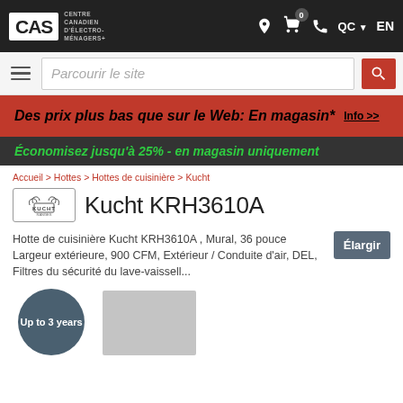CAS Centre Canadien d'Électro-Ménagers+
[Figure (screenshot): Search bar with hamburger menu and Parcourir le site placeholder]
Des prix plus bas que sur le Web: En magasin* Info >>
Économisez jusqu'à 25% - en magasin uniquement
Accueil > Hottes > Hottes de cuisinière > Kucht
Kucht KRH3610A
Hotte de cuisinière Kucht KRH3610A , Mural, 36 pouce Largeur extérieure, 900 CFM, Extérieur / Conduite d'air, DEL, Filtres du sécurité du lave-vaissell...
[Figure (photo): Product image area with 'Up to 3 years' circle badge and product photo of range hood]